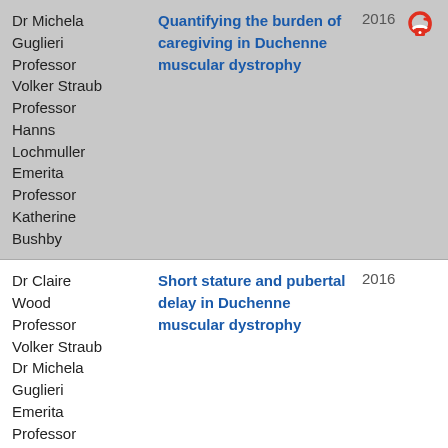Dr Michela Guglieri
Professor Volker Straub
Professor Hanns Lochmuller
Emerita Professor Katherine Bushby
Quantifying the burden of caregiving in Duchenne muscular dystrophy
2016
Dr Claire Wood
Professor Volker Straub
Dr Michela Guglieri
Emerita Professor
Short stature and pubertal delay in Duchenne muscular dystrophy
2016